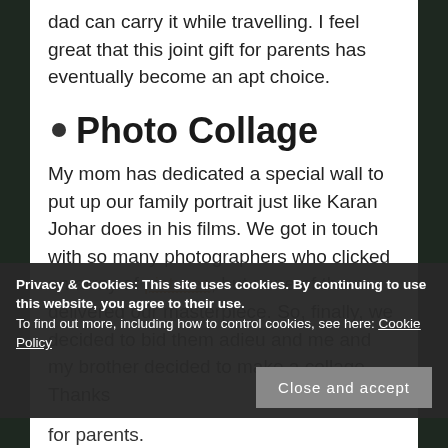dad can carry it while travelling. I feel great that this joint gift for parents has eventually become an apt choice.
Photo Collage
My mom has dedicated a special wall to put up our family portrait just like Karan Johar does in his films. We got in touch with so many photographers who clicked an array of pictures, but none of them delivered our masterpiece. So, finally, we decided to bid them adieu and me and my brother decided to make a collage. Thanks
Privacy & Cookies: This site uses cookies. By continuing to use this website, you agree to their use.
To find out more, including how to control cookies, see here: Cookie Policy
for parents.